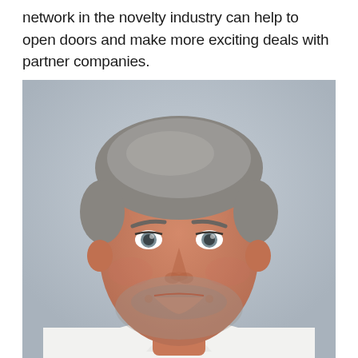network in the novelty industry can help to open doors and make more exciting deals with partner companies.
[Figure (photo): Professional headshot of a middle-aged man with salt-and-pepper hair, light stubble beard, blue-grey eyes, smiling broadly, wearing a white collared shirt, photographed against a light grey background.]